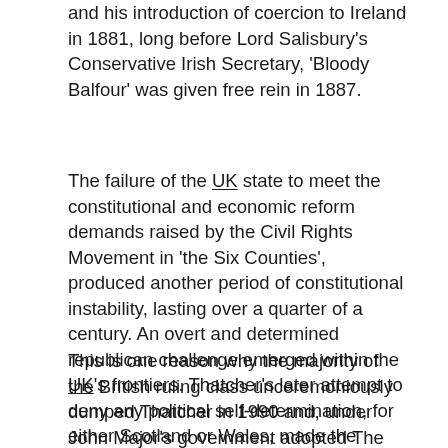and his introduction of coercion to Ireland in 1881, long before Lord Salisbury's Conservative Irish Secretary, 'Bloody Balfour' was given free rein in 1887.
The failure of the UK state to meet the constitutional and economic reform demands raised by the Civil Rights Movement in 'the Six Counties', produced another period of constitutional instability, lasting over a quarter of a century. An overt and determined republican challenge emerged within the UK's frontiers. Thatcher's later attempt to deny any political self-determination, for either Scotland or Wales, made the 'National Question' an even wider and more volatile political issue.
This is one reason why the majority of the British ruling class unceremoniously dumped Thatcher in 1990 and, under John Major's government adopted The Downing Street Agreement. The Conservatives were now